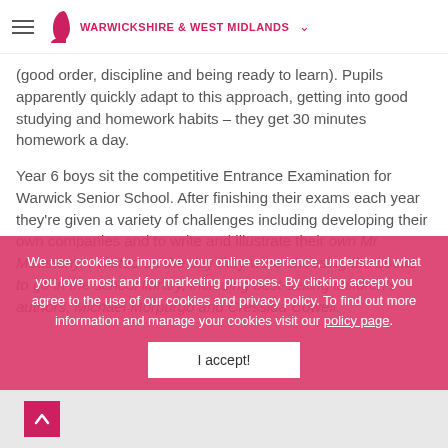WARWICKSHIRE & WEST MIDLANDS
(good order, discipline and being ready to learn). Pupils apparently quickly adapt to this approach, getting into good studying and homework habits – they get 30 minutes homework a day.
Year 6 boys sit the competitive Entrance Examination for Warwick Senior School. After finishing their exams each year they're given a variety of challenges including developing their own companies and to write and illustrate their own Mr Meastony. I visited on the day they were choosing the books to go in the school library, including best-selling children's authors, Michael Morpurgo and Cressida Cowell.
We use cookies to improve your online experience, understand what you love most and for marketing purposes. By clicking accept you agree to the use of our cookies and privacy policy. To find out more information and manage your cookies visit our policy page.
I accept!